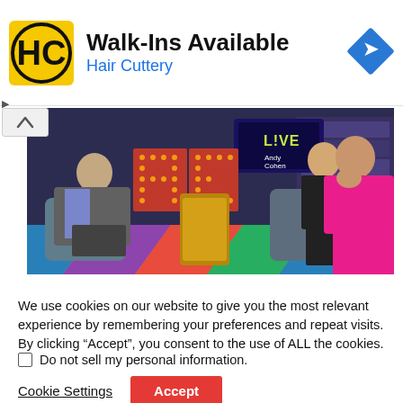[Figure (logo): Hair Cuttery ad banner with HC logo, 'Walk-Ins Available' headline, 'Hair Cuttery' subtitle in blue, and a blue diamond navigation arrow on the right]
[Figure (photo): TV show scene from Watch What Happens Live with Andy Cohen. Three people seated in modern chairs. A man in grey suit on the left, a woman in black in the center, and a woman in a bright pink/magenta pantsuit on the right with hand to face. Colorful WWHL set background with marquee letters and bookshelves.]
We use cookies on our website to give you the most relevant experience by remembering your preferences and repeat visits. By clicking “Accept”, you consent to the use of ALL the cookies.
Do not sell my personal information.
Cookie Settings
Accept